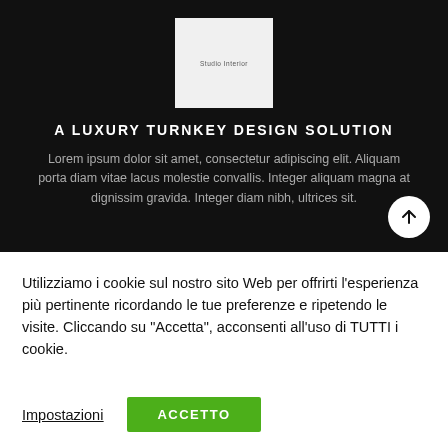[Figure (logo): White/light gray square logo box with small text reading 'Studio Interior' or similar brand name in dark gray]
A LUXURY TURNKEY DESIGN SOLUTION
Lorem ipsum dolor sit amet, consectetur adipiscing elit. Aliquam porta diam vitae lacus molestie convallis. Integer aliquam magna at dignissim gravida. Integer diam nibh, ultrices sit.
Utilizziamo i cookie sul nostro sito Web per offrirti l'esperienza più pertinente ricordando le tue preferenze e ripetendo le visite. Cliccando su "Accetta", acconsenti all'uso di TUTTI i cookie.
Impostazioni
ACCETTO